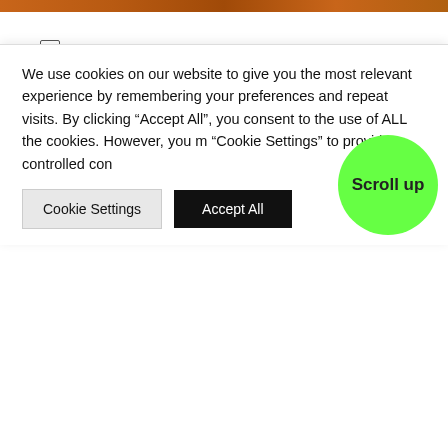[Figure (photo): Top decorative image bar with warm orange/brown tones]
Help & Info
Property Appraisal-Valuation
Read More
[Figure (infographic): Red dot pagination indicator]
We use cookies on our website to give you the most relevant experience by remembering your preferences and repeat visits. By clicking "Accept All", you consent to the use of ALL the cookies. However, you m "Cookie Settings" to provide a controlled con
Cookie Settings
Accept All
Scroll up